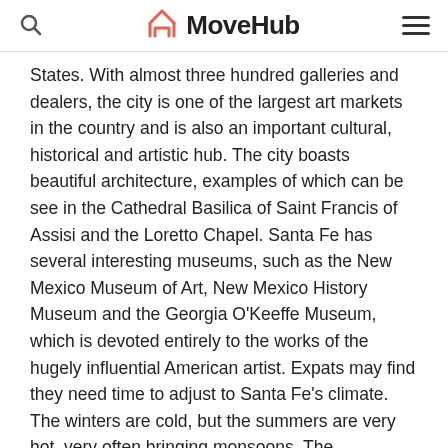MoveHub
States. With almost three hundred galleries and dealers, the city is one of the largest art markets in the country and is also an important cultural, historical and artistic hub. The city boasts beautiful architecture, examples of which can be see in the Cathedral Basilica of Saint Francis of Assisi and the Loretto Chapel. Santa Fe has several interesting museums, such as the New Mexico Museum of Art, New Mexico History Museum and the Georgia O'Keeffe Museum, which is devoted entirely to the works of the hugely influential American artist. Expats may find they need time to adjust to Santa Fe's climate. The winters are cold, but the summers are very hot, very often bringing monsoons. The performing arts scene in the city is very diverse and offers every type of entertainment, from dance to opera. All of this makes it easy to see why the beautiful city of Santa Fe attracts so many expats and tourists